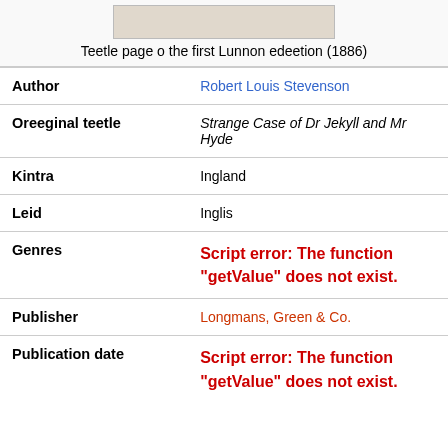Teetle page o the first Lunnon edeetion (1886)
| Field | Value |
| --- | --- |
| Author | Robert Louis Stevenson |
| Oreeginal teetle | Strange Case of Dr Jekyll and Mr Hyde |
| Kintra | Ingland |
| Leid | Inglis |
| Genres | Script error: The function "getValue" does not exist. |
| Publisher | Longmans, Green & Co. |
| Publication date | Script error: The function "getValue" does not exist. |